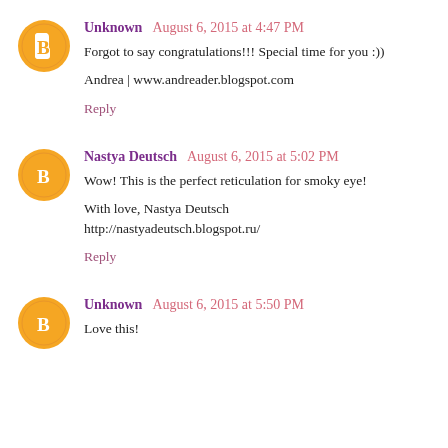Unknown  August 6, 2015 at 4:47 PM
Forgot to say congratulations!!! Special time for you :))
Andrea | www.andreader.blogspot.com
Reply
Nastya Deutsch  August 6, 2015 at 5:02 PM
Wow! This is the perfect reticulation for smoky eye!
With love, Nastya Deutsch
http://nastyadeutsch.blogspot.ru/
Reply
Unknown  August 6, 2015 at 5:50 PM
Love this!